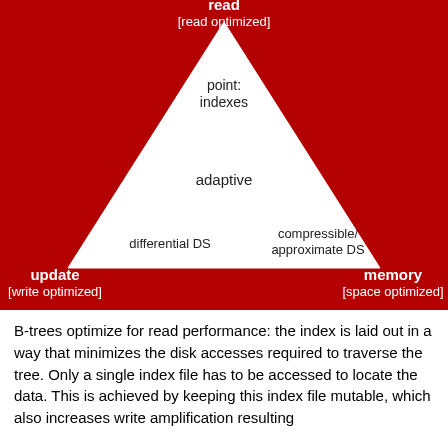[Figure (infographic): Triangle diagram on red background showing three optimization axes: read (read optimized) at top, update (write optimized) at bottom-left, memory (space optimized) at bottom-right. Inside the triangle: 'point: indexes' near top, 'adaptive' in center, 'differential DS' near bottom-left, 'compressible/ approximate DS' near bottom-right.]
B-trees optimize for read performance: the index is laid out in a way that minimizes the disk accesses required to traverse the tree. Only a single index file has to be accessed to locate the data. This is achieved by keeping this index file mutable, which also increases write amplification resulting